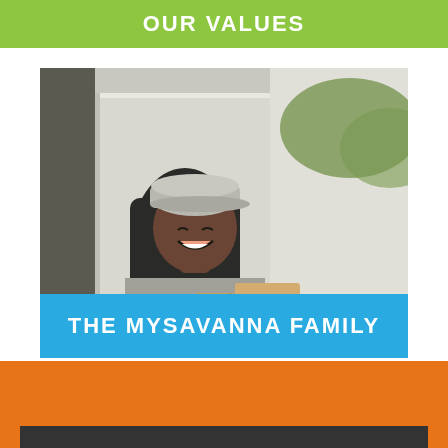OUR VALUES
[Figure (photo): A smiling delivery driver in a white van cab, wearing a gray polo shirt and white cap, holding cardboard packages.]
THE MYSAVANNA FAMILY